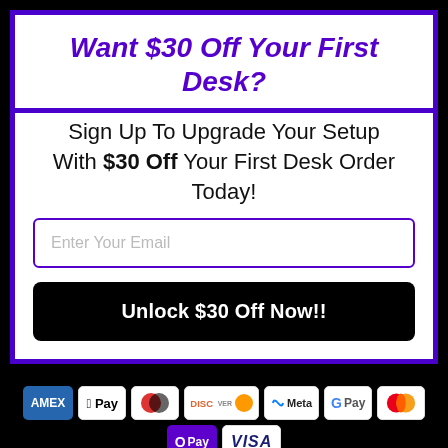Want $30 Off Your First Desk?
Sign Up To Upgrade Your Setup With $30 Off Your First Desk Order Today!
Enter Your Email
Unlock $30 Off Now!!
[Figure (other): Payment method icons: AMEX, Apple Pay, Diners Club, Discover, Meta Pay, Google Pay, Mastercard, OPay, VISA]
© 2022, Turismo Racing